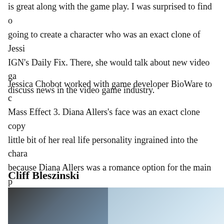is great along with the game play. I was surprised to find going to create a character who was an exact clone of Jessi IGN's Daily Fix. There, she would talk about new video ga discuss news in the video game industry.
Jessica Chobot worked with game developer BioWare to c Mass Effect 3. Diana Allers's face was an exact clone copy little bit of her real life personality ingrained into the chara because Diana Allers was a romance option for the main p The character Diana Allers got me to think about how cool developers Cliff Bleszinski, Sid Meier, and Markus Perss games.
Cliff Bleszinski
[Figure (photo): A photo showing game-related imagery, appears to be two side-by-side images: left shows a dark mechanical/weapon object, right shows a lighter scene with a person.]